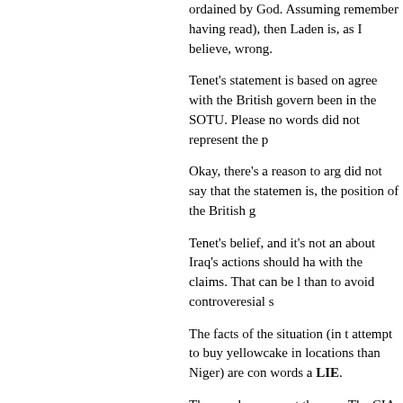ordained by God.  Assuming remember having read), then Laden is, as I believe, wrong.
Tenet's statement is based on agree with the British govern been in the SOTU. Please no words did not represent the p
Okay, there's a reason to arg did not say that the statemen is, the position of the British g
Tenet's belief, and it's not an about Iraq's actions should ha with the claims. That can be l than to avoid controveresial s
The facts of the situation (in t attempt to buy yellowcake in locations than Niger) are con words a LIE.
The words represent the pres The CIA disagrees. The Brits has the CIA.